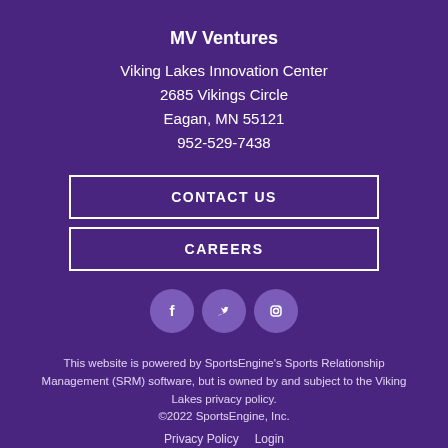MV Ventures
Viking Lakes Innovation Center
2685 Vikings Circle
Eagan, MN 55121
952-529-7438
CONTACT US
CAREERS
[Figure (illustration): Three social media icons (Facebook, Twitter, Instagram) as white icons on circular purple backgrounds]
This website is powered by SportsEngine's Sports Relationship Management (SRM) software, but is owned by and subject to the Viking Lakes privacy policy.
©2022 SportsEngine, Inc.
Privacy Policy   Login